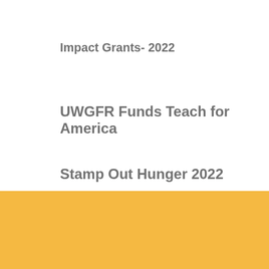Impact Grants- 2022
UWGFR Funds Teach for America
Stamp Out Hunger 2022